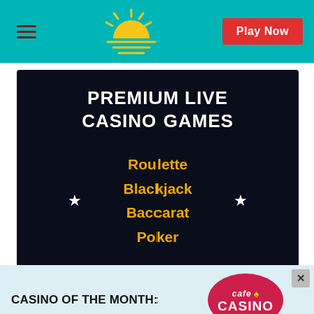Play Now
[Figure (infographic): Dark casino panel showing PREMIUM LIVE CASINO GAMES with game list: Roulette, Blackjack, Baccarat, Poker and decorative stars]
CASINO OF THE MONTH:
[Figure (logo): Cafe Casino logo - red circular badge with cafe and CASINO text]
WELCOME BONUS SUPER PLAY UP TO $
RATING: ★★★★★
Get Bonus